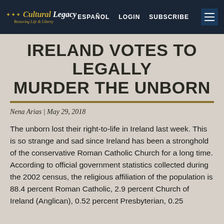Cultural Legacy | Restoring Life & Liberty | ESPAÑOL | LOGIN | SUBSCRIBE
IRELAND VOTES TO LEGALLY MURDER THE UNBORN
Nena Arias | May 29, 2018
The unborn lost their right-to-life in Ireland last week. This is so strange and sad since Ireland has been a stronghold of the conservative Roman Catholic Church for a long time. According to official government statistics collected during the 2002 census, the religious affiliation of the population is 88.4 percent Roman Catholic, 2.9 percent Church of Ireland (Anglican), 0.52 percent Presbyterian, 0.25